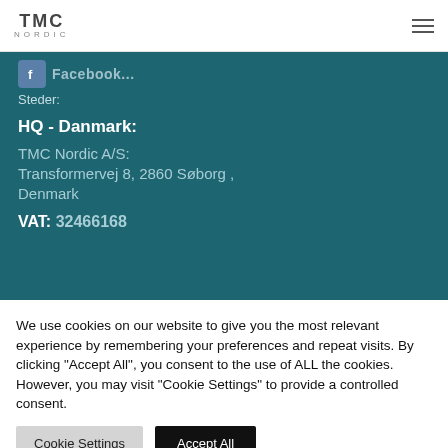TMC Nordic
Facebook
Steder:
HQ - Danmark:
TMC Nordic A/S:
Transformervej 8, 2860 Søborg , Denmark
VAT: 32466168
We use cookies on our website to give you the most relevant experience by remembering your preferences and repeat visits. By clicking "Accept All", you consent to the use of ALL the cookies. However, you may visit "Cookie Settings" to provide a controlled consent.
Cookie Settings
Accept All